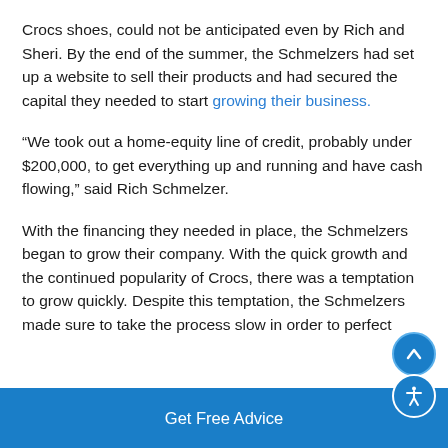Crocs shoes, could not be anticipated even by Rich and Sheri. By the end of the summer, the Schmelzers had set up a website to sell their products and had secured the capital they needed to start growing their business.
“We took out a home-equity line of credit, probably under $200,000, to get everything up and running and have cash flowing,” said Rich Schmelzer.
With the financing they needed in place, the Schmelzers began to grow their company. With the quick growth and the continued popularity of Crocs, there was a temptation to grow quickly. Despite this temptation, the Schmelzers made sure to take the process slow in order to perfect
Get Free Advice